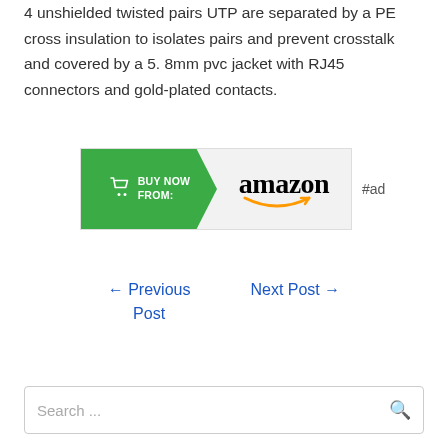4 unshielded twisted pairs UTP are separated by a PE cross insulation to isolates pairs and prevent crosstalk and covered by a 5. 8mm pvc jacket with RJ45 connectors and gold-plated contacts.
[Figure (illustration): Amazon 'Buy Now From' banner advertisement with green arrow shape on left containing shopping cart icon and 'BUY NOW FROM:' text, and Amazon logo with smile on right. Followed by '#ad' text label.]
← Previous Post
Next Post →
Search ...